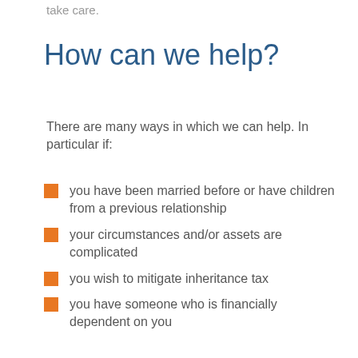take care.
How can we help?
There are many ways in which we can help. In particular if:
you have been married before or have children from a previous relationship
your circumstances and/or assets are complicated
you wish to mitigate inheritance tax
you have someone who is financially dependent on you